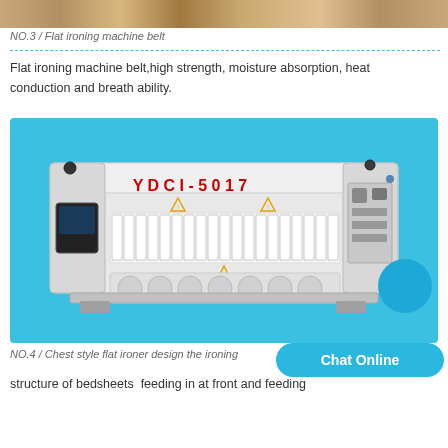[Figure (photo): Top strip showing partial images of ironing machine belts and materials]
NO.3 / Flat ironing machine belt
Flat ironing machine belt,high strength, moisture absorption, heat conduction and breath ability.
[Figure (photo): YDCI-5017 chest style flat ironer machine on light blue background]
NO.4 / Chest style flat ironer design the ironing structure of bedsheets  feeding in at front and feeding